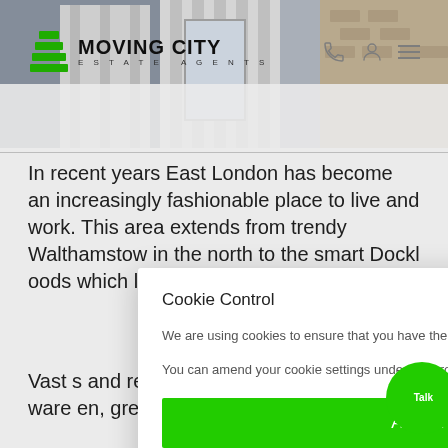[Figure (screenshot): Moving City Estate Agents website header with logo and background photo of townhouse columns]
In recent years East London has become an increasingly fashionable place to live and work. This area extends from trendy Walthamstow in the north to the smart Dockl...oods which...luxurie...
Vast s...and regen...ity, there...high-...aces or ware...en, gree...mber of
[Figure (screenshot): Cookie Control modal dialog with Accept Cookie (green) and Review Cookie (black) buttons overlaying the page content]